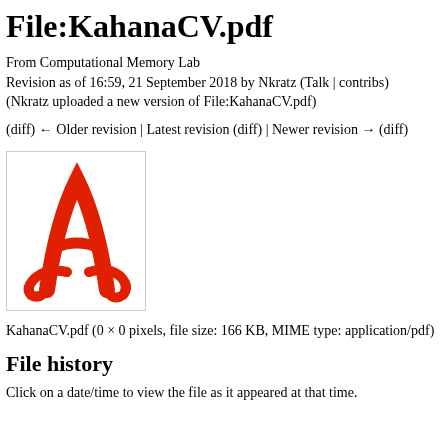File:KahanaCV.pdf
From Computational Memory Lab
Revision as of 16:59, 21 September 2018 by Nkratz (Talk | contribs)
(Nkratz uploaded a new version of File:KahanaCV.pdf)
(diff) ← Older revision | Latest revision (diff) | Newer revision → (diff)
[Figure (illustration): Adobe PDF file icon — red stylized 'A' shape on white background with border]
KahanaCV.pdf (0 × 0 pixels, file size: 166 KB, MIME type: application/pdf)
File history
Click on a date/time to view the file as it appeared at that time.